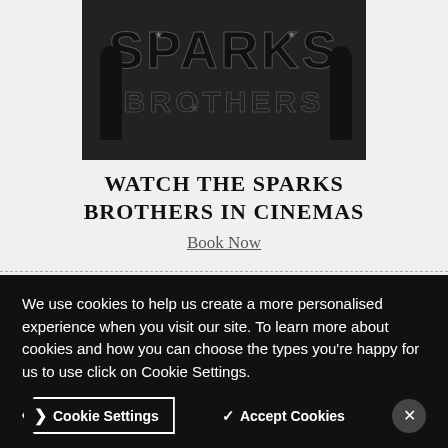[Figure (photo): Black and white image of the Sparks Brothers movie logo/title cards]
WATCH THE SPARKS BROTHERS IN CINEMAS
Book Now
They think it worked with Carax because 'He really focuses on one film at a time.' But Annette is a world away from the classical Hollywood musical. 'We never really felt a kinship with Hollywood
We use cookies to help us create a more personalised experience when you visit our site. To learn more about cookies and how you can choose the types you're happy for us to use click on Cookie Settings.
Cookie Settings | Accept Cookies | X